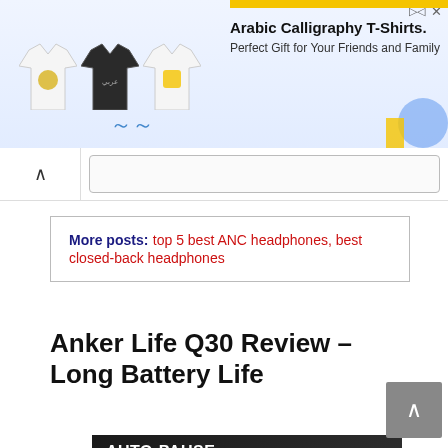[Figure (photo): Advertisement banner for Arabic Calligraphy T-Shirts showing three t-shirts (white with gold design, dark gray with Arabic text, white with yellow logo) and text 'Arabic Calligraphy T-Shirts. Perfect Gift for Your Friends and Family']
More posts:  top 5 best ANC headphones, best closed-back headphones
Anker Life Q30 Review – Long Battery Life
[Figure (photo): Product promotional image for Anker Life Q30 headphones showing auto-pause audio feature with text 'AUTO-PAUSE AUDIO' and 'A sensor detects when the headphones are removed from your ears.' with a person wearing headphones in the background]